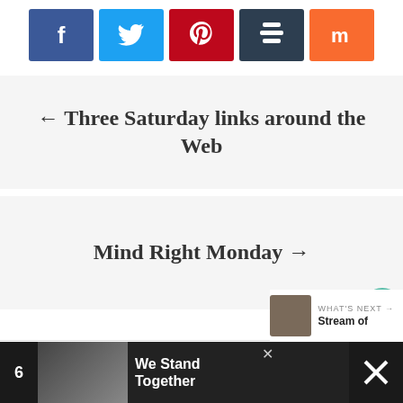[Figure (other): Row of five social sharing buttons: Facebook (dark blue, f icon), Twitter (light blue, bird icon), Pinterest (red, p icon), Buffer (dark slate, layers icon), Mix (orange, m icon)]
← Three Saturday links around the Web
Mind Right Monday →
[Figure (other): Floating heart/like button (teal circle with heart icon), like count '1', and share button (white circle with share icon)]
[Figure (other): Bottom overlay ad bar: number 6 on dark background, group photo with 'We Stand Together' text, close button, and what's next panel showing 'Stream of...' article thumbnail]
WHAT'S NEXT → Stream of